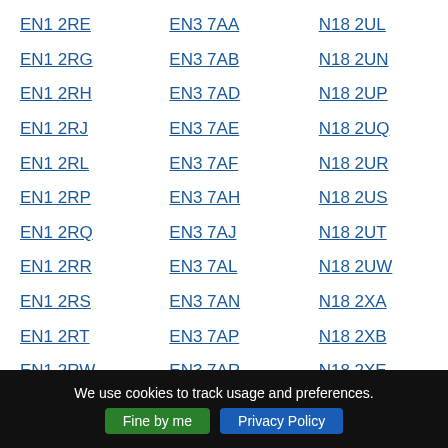EN1 2RE
EN3 7AA
N18 2UL
EN1 2RG
EN3 7AB
N18 2UN
EN1 2RH
EN3 7AD
N18 2UP
EN1 2RJ
EN3 7AE
N18 2UQ
EN1 2RL
EN3 7AF
N18 2UR
EN1 2RP
EN3 7AH
N18 2US
EN1 2RQ
EN3 7AJ
N18 2UT
EN1 2RR
EN3 7AL
N18 2UW
EN1 2RS
EN3 7AN
N18 2XA
EN1 2RT
EN3 7AP
N18 2XB
EN1 2RW
EN3 7AR
N18 2XE
EN1 2RX
EN3 7AS
N18 2XF
We use cookies to track usage and preferences. Fine by me  Privacy Policy